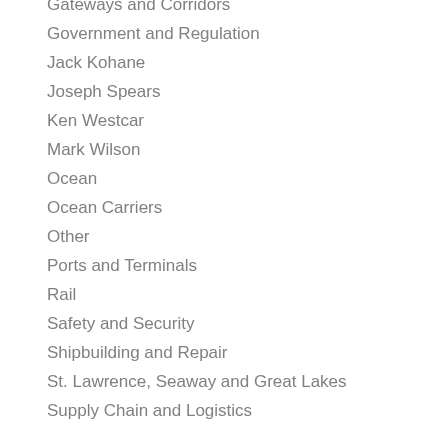Gateways and Corridors
Government and Regulation
Jack Kohane
Joseph Spears
Ken Westcar
Mark Wilson
Ocean
Ocean Carriers
Other
Ports and Terminals
Rail
Safety and Security
Shipbuilding and Repair
St. Lawrence, Seaway and Great Lakes
Supply Chain and Logistics